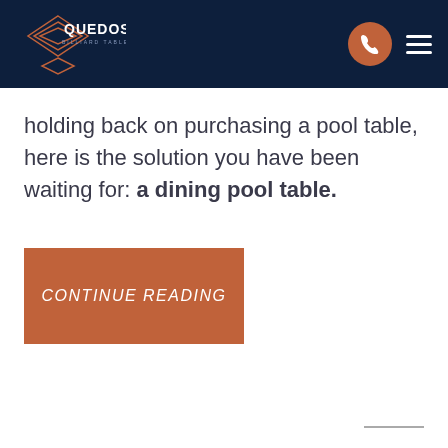QUEDOS BILLIARD TABLES
holding back on purchasing a pool table, here is the solution you have been waiting for: a dining pool table.
CONTINUE READING